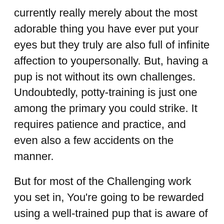currently really merely about the most adorable thing you have ever put your eyes but they truly are also full of infinite affection to youpersonally. But, having a pup is not without its own challenges. Undoubtedly, potty-training is just one among the primary you could strike. It requires patience and practice, and even also a few accidents on the manner.
But for most of the Challenging work you set in, You're going to be rewarded using a well-trained pup that is aware of exactly the way you can accomplish their organization! If you should be prepared to select the dip, make certain to browse our 4 specialist dog potty teaching hints.
Inch. Commence Early
The Sooner you begin your own pup potty coaching, That the simpler it is going to soon be. That said, you have to wait